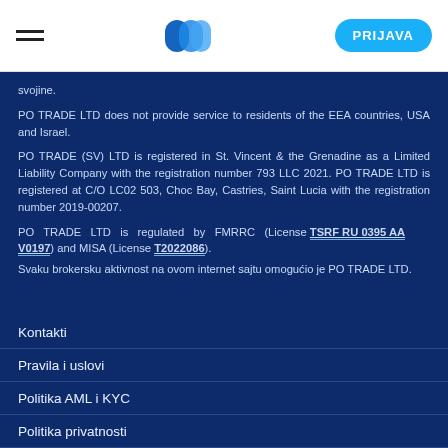PRIJAVA
svojine.
PO TRADE LTD does not provide service to residents of the EEA countries, USA and Israel.
PO TRADE (SV) LTD is registered in St. Vincent & the Grenadine as a Limited Liability Company with the registration number 793 LLC 2021. PO TRADE LTD is registered at C/O LC02 503, Choc Bay, Castries, Saint Lucia with the registration number 2019-00207.
PO TRADE LTD is regulated by FMRRC (License TSRF RU 0395 AA V0197) and MISA (License T2022086).
Svaku brokersku aktivnost na ovom internet sajtu omogućio je PO TRADE LTD.
Kontakti
Pravila i uslovi
Politika AML i KYC
Politika privatnosti